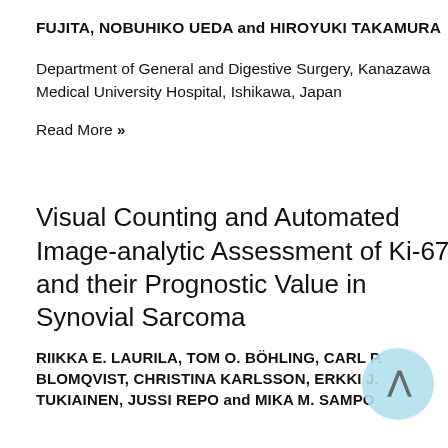FUJITA, NOBUHIKO UEDA and HIROYUKI TAKAMURA
Department of General and Digestive Surgery, Kanazawa Medical University Hospital, Ishikawa, Japan
Read More »
Visual Counting and Automated Image-analytic Assessment of Ki-67 and their Prognostic Value in Synovial Sarcoma
RIIKKA E. LAURILA, TOM O. BÖHLING, CARL P. BLOMQVIST, CHRISTINA KARLSSON, ERKKI J. TUKIAINEN, JUSSI REPO and MIKA M. SAMPO